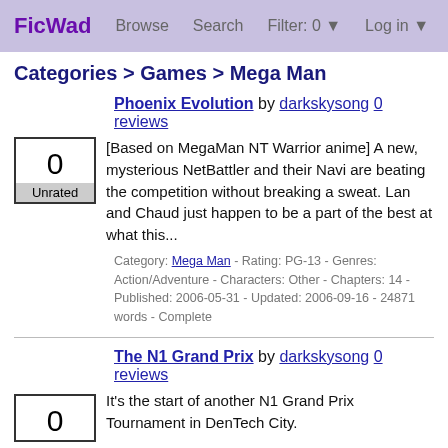FicWad  Browse  Search  Filter: 0 ▼  Log in ▼
Categories > Games > Mega Man
Phoenix Evolution by darkskysong 0 reviews
[Based on MegaMan NT Warrior anime] A new, mysterious NetBattler and their Navi are beating the competition without breaking a sweat. Lan and Chaud just happen to be a part of the best at what this...
Category: Mega Man - Rating: PG-13 - Genres: Action/Adventure - Characters: Other - Chapters: 14 - Published: 2006-05-31 - Updated: 2006-09-16 - 24871 words - Complete
The N1 Grand Prix by darkskysong 0 reviews
It's the start of another N1 Grand Prix Tournament in DenTech City.